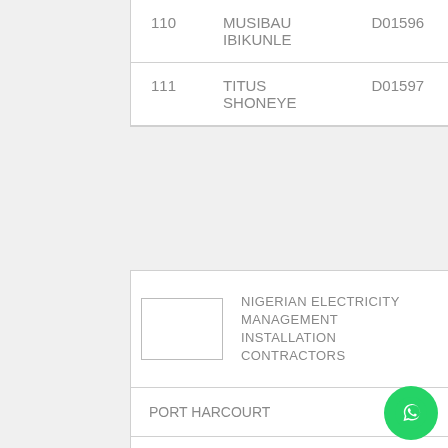| S/N | NAME | CERT NO. |
| --- | --- | --- |
| 110 | MUSIBAU IBIKUNLE | D01596 |
| 111 | TITUS SHONEYE | D01597 |
[Figure (logo): Organization logo placeholder box]
NIGERIAN ELECTRICITY MANAGEMENT INSTALLATION CONTRACTORS
PORT HARCOURT
CATEGORY A
| S/N | NAME | CERT NO. |
| --- | --- | --- |